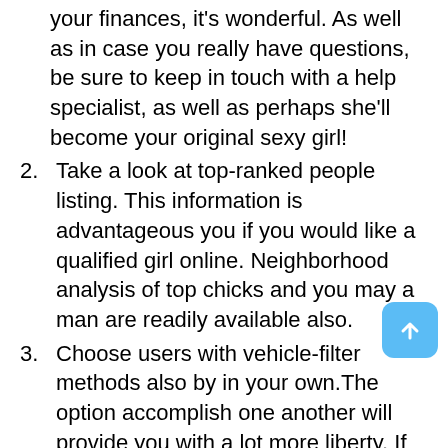your finances, it's wonderful. As well as in case you really have questions, be sure to keep in touch with a help specialist, as well as perhaps she'll become your original sexy girl!
2. Take a look at top-ranked people listing. This information is advantageous you if you would like a qualified girl online. Neighborhood analysis of top chicks and you may a man are readily available also.
3. Choose users with vehicle-filter methods also by in your own.The option accomplish one another will provide you with a lot more liberty. If you believe lethargic today, let AI choose for you. Normally, have the best companion your self.
4. Is truly further messaging setups.It would-